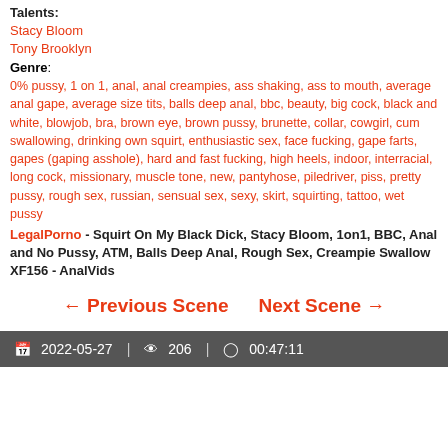Talents:
Stacy Bloom
Tony Brooklyn
Genre: 0% pussy, 1 on 1, anal, anal creampies, ass shaking, ass to mouth, average anal gape, average size tits, balls deep anal, bbc, beauty, big cock, black and white, blowjob, bra, brown eye, brown pussy, brunette, collar, cowgirl, cum swallowing, drinking own squirt, enthusiastic sex, face fucking, gape farts, gapes (gaping asshole), hard and fast fucking, high heels, indoor, interracial, long cock, missionary, muscle tone, new, pantyhose, piledriver, piss, pretty pussy, rough sex, russian, sensual sex, sexy, skirt, squirting, tattoo, wet pussy
LegalPorno - Squirt On My Black Dick, Stacy Bloom, 1on1, BBC, Anal and No Pussy, ATM, Balls Deep Anal, Rough Sex, Creampie Swallow XF156 - AnalVids
← Previous Scene    Next Scene →
2022-05-27 | 206 | 00:47:11